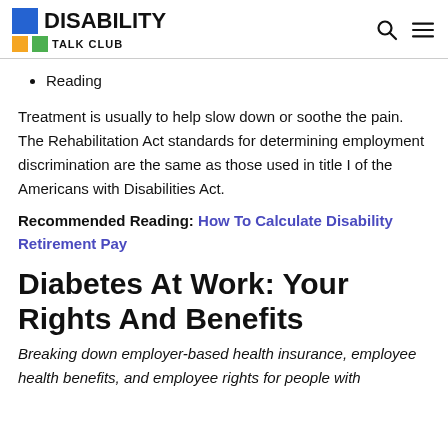DISABILITY TALK CLUB
Reading
Treatment is usually to help slow down or soothe the pain. The Rehabilitation Act standards for determining employment discrimination are the same as those used in title I of the Americans with Disabilities Act.
Recommended Reading: How To Calculate Disability Retirement Pay
Diabetes At Work: Your Rights And Benefits
Breaking down employer-based health insurance, employee health benefits, and employee rights for people with